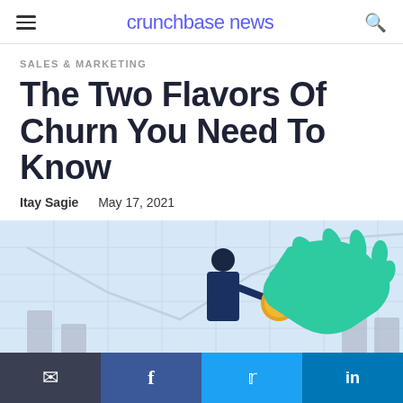crunchbase news
SALES & MARKETING
The Two Flavors Of Churn You Need To Know
Itay Sagie   May 17, 2021
[Figure (illustration): Illustration of a person handing a gold coin to a large green hand, with a chart showing an upward trend and gray bar chart elements in the background on a light blue grid.]
Email  Facebook  Twitter  LinkedIn